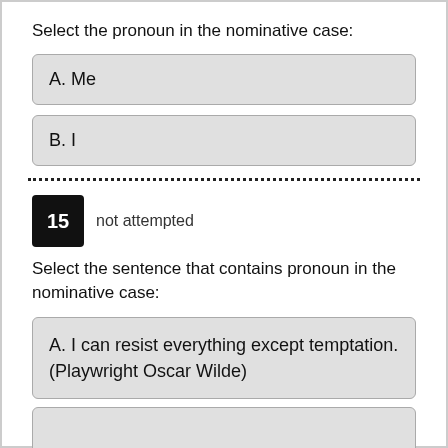Select the pronoun in the nominative case:
A. Me
B. I
15   not attempted
Select the sentence that contains pronoun in the nominative case:
A. I can resist everything except temptation. (Playwright Oscar Wilde)